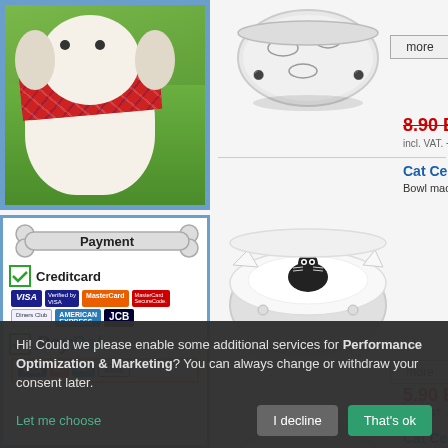[Figure (photo): Dog wearing a red plaid bandana/scarf outdoors on grass]
[Figure (photo): Payment methods panel showing Creditcard (Visa, MasterCard, JCB, Diners, Amex) and PayPal (Visa, MasterCard, Amex, Bank) with checkmarks]
[Figure (photo): Gray ceramic cat bowl with fish pattern]
more
8.90 EU
incl. VAT. + g
Cat Cera
Bowl made
[Figure (photo): White ceramic cat bowl with cat face and black cat design inside]
more
5.90 EU
incl. VAT. + g
Cat Cera
Bowl made
[Figure (photo): Partial view of another ceramic cat bowl (pink/light colored), partially visible at bottom]
Hi! Could we please enable some additional services for Performance Optimization & Marketing? You can always change or withdraw your consent later.
Let me choose
I decline
That's ok